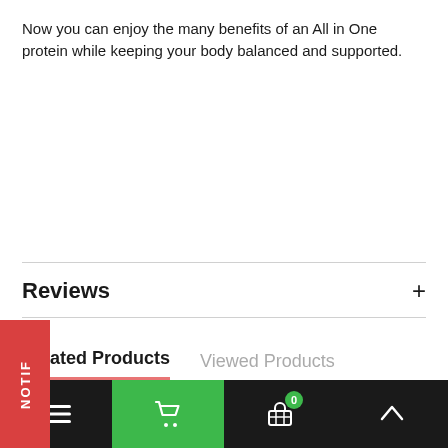Now you can enjoy the many benefits of an All in One protein while keeping your body balanced and supported.
Reviews
Related Products
Viewed Products
[Figure (screenshot): Product thumbnail images visible at bottom of product listing page]
NOTIF navigation bar with hamburger menu, cart, basket with badge 0, and up-arrow icons